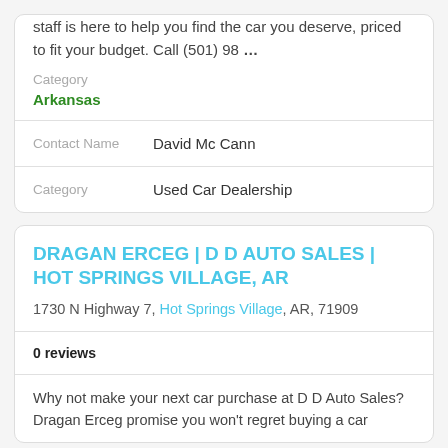staff is here to help you find the car you deserve, priced to fit your budget. Call (501) 98 …
Category
Arkansas
Contact Name    David Mc Cann
Category    Used Car Dealership
DRAGAN ERCEG | D D AUTO SALES | HOT SPRINGS VILLAGE, AR
1730 N Highway 7, Hot Springs Village, AR, 71909
0 reviews
Why not make your next car purchase at D D Auto Sales? Dragan Erceg promise you won't regret buying a car